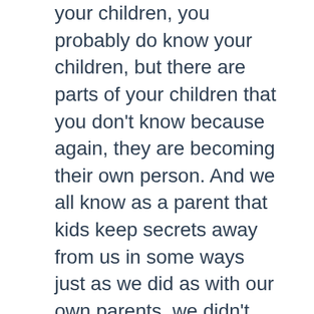your children, you probably do know your children, but there are parts of your children that you don't know because again, they are becoming their own person. And we all know as a parent that kids keep secrets away from us in some ways just as we did as with our own parents, we didn't tell them everything. I'm not getting into all the things I kept away from my parents.
Skye:
Please don't.
Adrian: